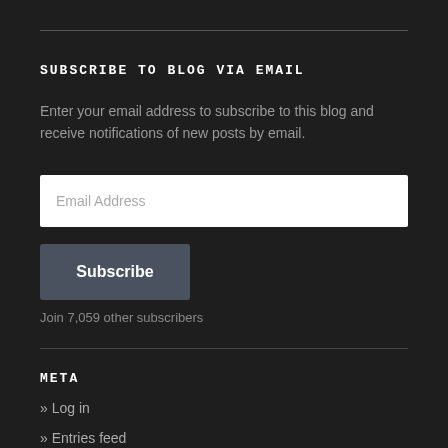SUBSCRIBE TO BLOG VIA EMAIL
Enter your email address to subscribe to this blog and receive notifications of new posts by email.
Email Address
Subscribe
Join 7,059 other subscribers
META
» Log in
» Entries feed